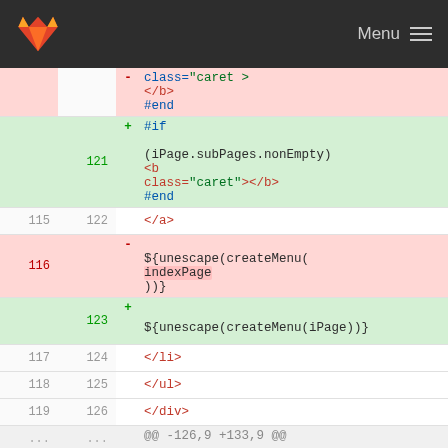GitLab diff view header with Menu
class="caret ></b> #end
121 + #if (iPage.subPages.nonEmpty) <b class="caret"></b> #end
115 122 </a>
116 - ${unescape(createMenu(indexPage))}
123 + ${unescape(createMenu(iPage))}
117 124 </li>
118 125 </ul>
119 126 </div>
@@ -126,9 +133,9 @@
126 133 #if(t == 0)
127 134 <li class="root">
128 135 <a href="${rootPath}index.html">Home
129 - #if (indexPage.subPages.nonEmpty) <b